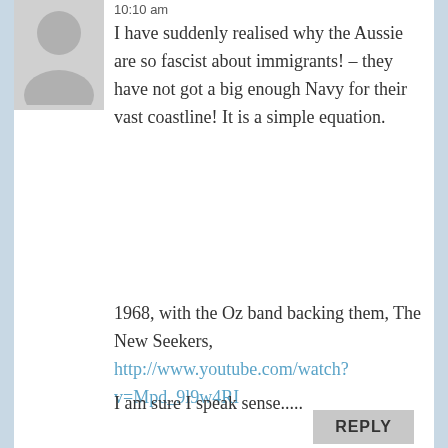[Figure (illustration): Grey silhouette avatar icon of a person, used as default user profile image]
10:10 am
I have suddenly realised why the Aussie are so fascist about immigrants! – they have not got a big enough Navy for their vast coastline! It is a simple equation.
1968, with the Oz band backing them, The New Seekers, http://www.youtube.com/watch?v=Mpd_9l9w4RI
I am sure I speak sense.....